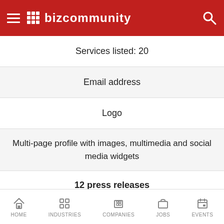Bizcommunity
Services listed: 20
Email address
Logo
Multi-page profile with images, multimedia and social media widgets
12 press releases
Press release credits may also be used for:
Job ads
Featured events
Promoted content
Display banner ads
HOME   INDUSTRIES   COMPANIES   JOBS   EVENTS